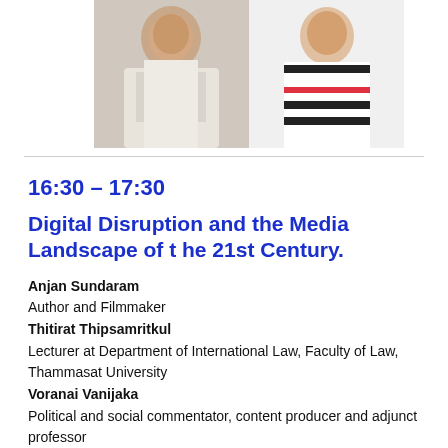[Figure (photo): Two photos of women side by side, partially cropped at top of page]
16:30 – 17:30
Digital Disruption and the Media Landscape of t he 21st Century.
Anjan Sundaram
Author and Filmmaker
Thitirat Thipsamritkul
Lecturer at Department of International Law, Faculty of Law, Thammasat University
Voranai Vanijaka
Political and social commentator, content producer and adjunct professor
Moderated by Cod Satrusayang
journalist and political commentator
The media landscape in the 21st century is